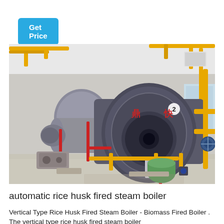Get Price
[Figure (photo): Industrial steam boilers in a factory setting with yellow and red pipes. Two large cylindrical horizontal boilers are visible with Chinese characters on the front boiler, numbered 2. The room has white walls and a ceiling with structural beams and piping.]
automatic rice husk fired steam boiler
Vertical Type Rice Husk Fired Steam Boiler - Biomass Fired Boiler . The vertical type rice husk fired steam boiler